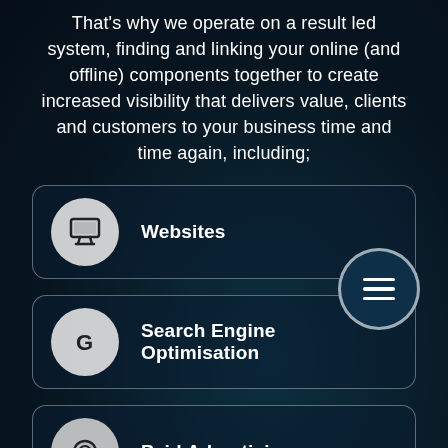That's why we operate on a result led system, finding and linking your online (and offline) components together to create increased visibility that delivers value, clients and customers to your business time and time again, including;
Websites
Search Engine Optimisation
Paid Advertising